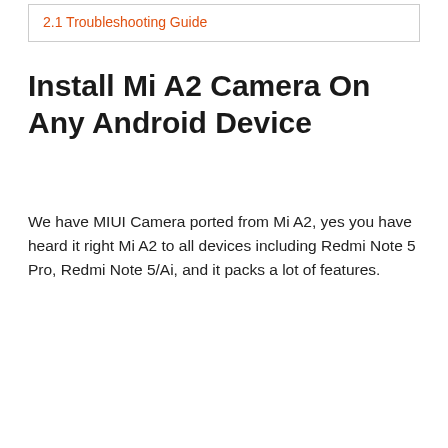2.1 Troubleshooting Guide
Install Mi A2 Camera On Any Android Device
We have MIUI Camera ported from Mi A2, yes you have heard it right Mi A2 to all devices including Redmi Note 5 Pro, Redmi Note 5/Ai, and it packs a lot of features.